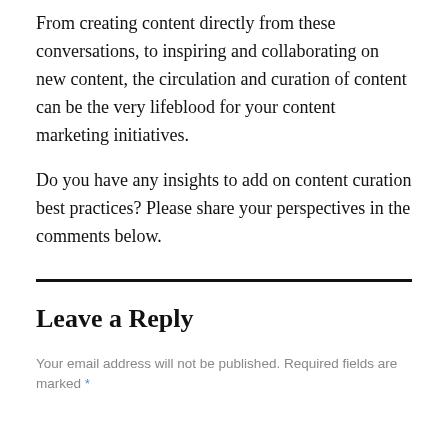From creating content directly from these conversations, to inspiring and collaborating on new content, the circulation and curation of content can be the very lifeblood for your content marketing initiatives.
Do you have any insights to add on content curation best practices? Please share your perspectives in the comments below.
Leave a Reply
Your email address will not be published. Required fields are marked *